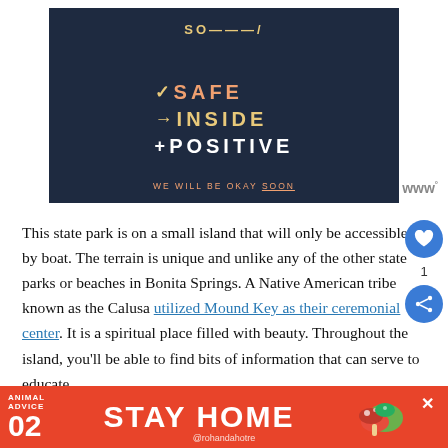[Figure (illustration): Dark navy card with text lines: checkmark SAFE, arrow INSIDE, plus POSITIVE, and bottom text 'WE WILL BE OKAY SOON' underlined, with a www logo badge at bottom right.]
This state park is on a small island that will only be accessible by boat. The terrain is unique and unlike any of the other state parks or beaches in Bonita Springs. A Native American tribe known as the Calusa utilized Mound Key as their ceremonial center. It is a spiritual place filled with beauty. Throughout the island, you'll be able to find bits of information that can serve to educate
[Figure (infographic): Red advertisement banner: ANIMAL ADVICE 02, STAY HOME, @rohandahotre, mushroom illustration, close X button]